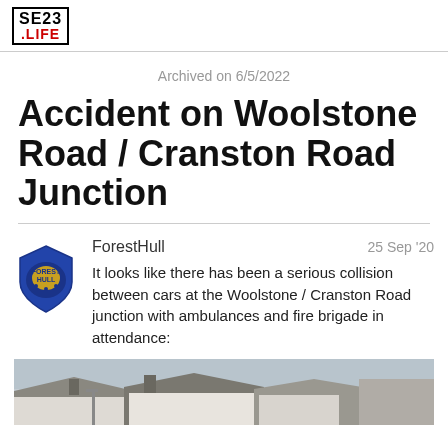SE23 .LIFE
Archived on 6/5/2022
Accident on Woolstone Road / Cranston Road Junction
ForestHull   25 Sep '20
It looks like there has been a serious collision between cars at the Woolstone / Cranston Road junction with ambulances and fire brigade in attendance:
[Figure (photo): Partial photograph showing rooftops and street scene near the accident location]